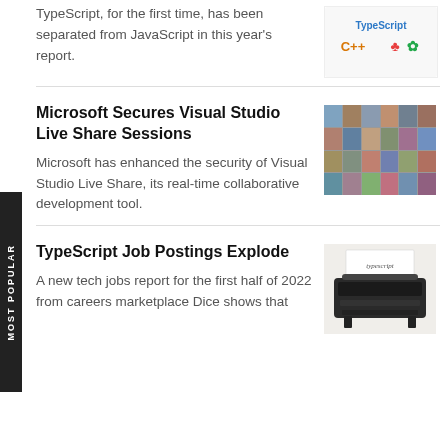TypeScript, for the first time, has been separated from JavaScript in this year's report.
[Figure (photo): Colorful letters spelling TypeScript C++ etc on white background]
Microsoft Secures Visual Studio Live Share Sessions
[Figure (photo): Grid of people's faces in video call thumbnails]
Microsoft has enhanced the security of Visual Studio Live Share, its real-time collaborative development tool.
TypeScript Job Postings Explode
[Figure (photo): Vintage typewriter with the word typescript on paper]
A new tech jobs report for the first half of 2022 from careers marketplace Dice shows that